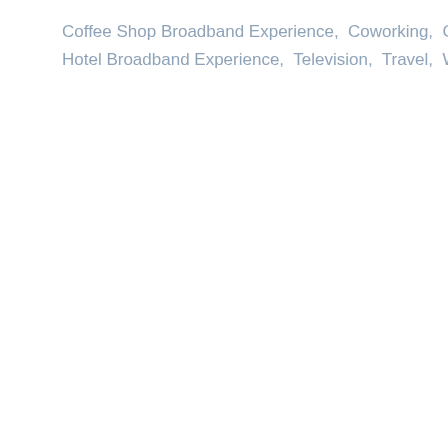Coffee Shop Broadband Experience,  Coworking,  Current Affairs,  Hotel Broadband Experience,  Television,  Travel,  Web/Tech,  We…